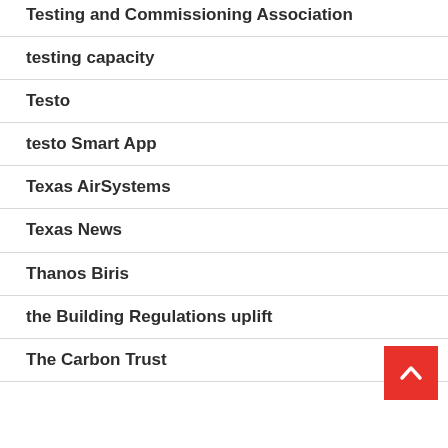Testing and Commissioning Association
testing capacity
Testo
testo Smart App
Texas AirSystems
Texas News
Thanos Biris
the Building Regulations uplift
The Carbon Trust